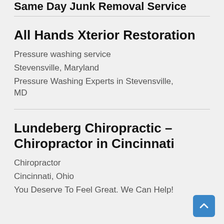Same Day Junk Removal Service
All Hands Xterior Restoration
Pressure washing service
Stevensville, Maryland
Pressure Washing Experts in Stevensville, MD
Lundeberg Chiropractic – Chiropractor in Cincinnati
Chiropractor
Cincinnati, Ohio
You Deserve To Feel Great. We Can Help!